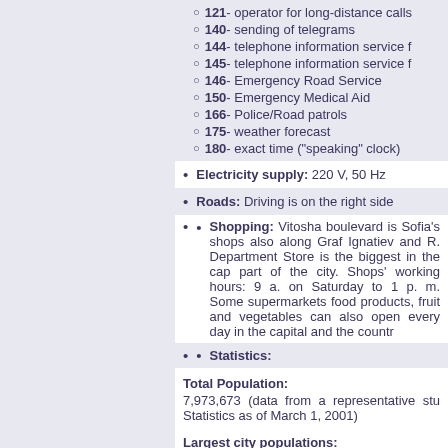121 - operator for long-distance calls
140 - sending of telegrams
144 - telephone information service f
145 - telephone information service f
146 - Emergency Road Service
150 - Emergency Medical Aid
166 - Police/Road patrols
175 - weather forecast
180 - exact time ("speaking" clock)
Electricity supply: 220 V, 50 Hz
Roads: Driving is on the right side
Shopping: Vitosha boulevard is Sofia's shops also along Graf Ignatiev and R. Department Store is the biggest in the cap part of the city. Shops' working hours: 9 a. on Saturday to 1 p. m. Some supermarkets food products, fruit and vegetables can also open every day in the capital and the countr
Statistics:
Total Population:
7,973,673 (data from a representative stu Statistics as of March 1, 2001)
Largest city populations:
Sofia 1,096,389
Plovdiv 340,638